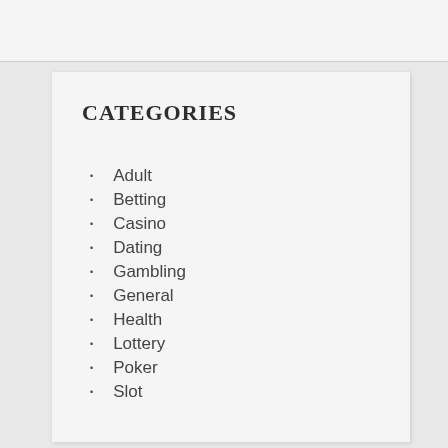Categories
Adult
Betting
Casino
Dating
Gambling
General
Health
Lottery
Poker
Slot